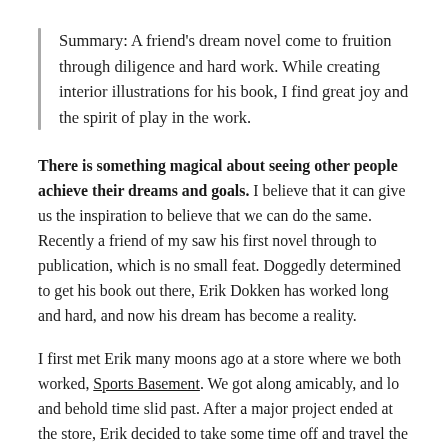Summary: A friend's dream novel come to fruition through diligence and hard work. While creating interior illustrations for his book, I find great joy and the spirit of play in the work.
There is something magical about seeing other people achieve their dreams and goals. I believe that it can give us the inspiration to believe that we can do the same. Recently a friend of my saw his first novel through to publication, which is no small feat. Doggedly determined to get his book out there, Erik Dokken has worked long and hard, and now his dream has become a reality.
I first met Erik many moons ago at a store where we both worked, Sports Basement. We got along amicably, and lo and behold time slid past. After a major project ended at the store, Erik decided to take some time off and travel the